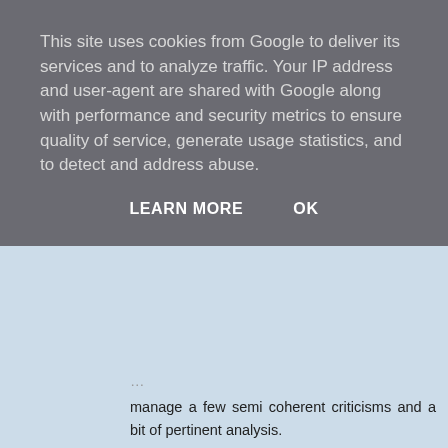This site uses cookies from Google to deliver its services and to analyze traffic. Your IP address and user-agent are shared with Google along with performance and security metrics to ensure quality of service, generate usage statistics, and to detect and address abuse.
LEARN MORE   OK
manage a few semi coherent criticisms and a bit of pertinent analysis.
I can't decide whether they are too stupid to construct an argument, too corrupt to care or too arrogant to bother.
Reply
Don't Call Me Dave  19 December 2008 at 03:41
Or all three?
Reply